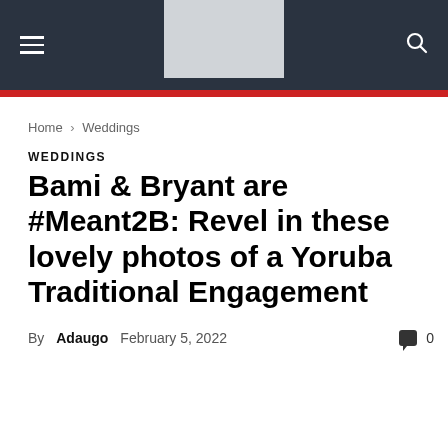Navigation header with hamburger menu, logo placeholder, and search icon
Home › Weddings
WEDDINGS
Bami & Bryant are #Meant2B: Revel in these lovely photos of a Yoruba Traditional Engagement
By Adaugo  February 5, 2022  0